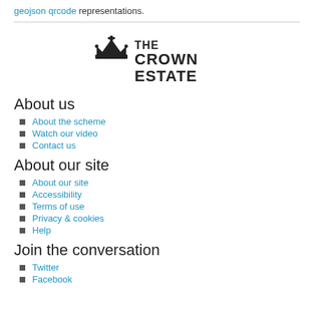geojson qrcode representations.
[Figure (logo): The Crown Estate logo — crown icon above text reading THE CROWN ESTATE in bold dark serif font]
About us
About the scheme
Watch our video
Contact us
About our site
About our site
Accessibility
Terms of use
Privacy & cookies
Help
Join the conversation
Twitter
Facebook